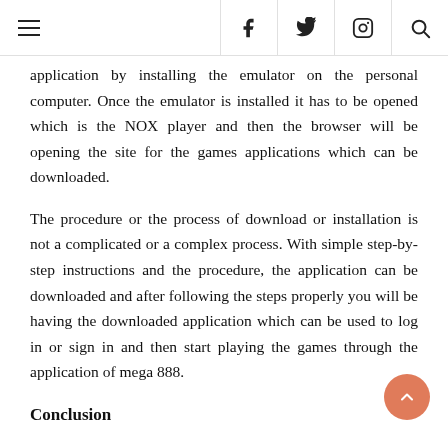≡  f  🐦  📷  🔍
application by installing the emulator on the personal computer. Once the emulator is installed it has to be opened which is the NOX player and then the browser will be opening the site for the games applications which can be downloaded.
The procedure or the process of download or installation is not a complicated or a complex process. With simple step-by-step instructions and the procedure, the application can be downloaded and after following the steps properly you will be having the downloaded application which can be used to log in or sign in and then start playing the games through the application of mega 888.
Conclusion
Another benefit of these online casinos is the jackpot draws, and there are many rewards, bonuses, promotions